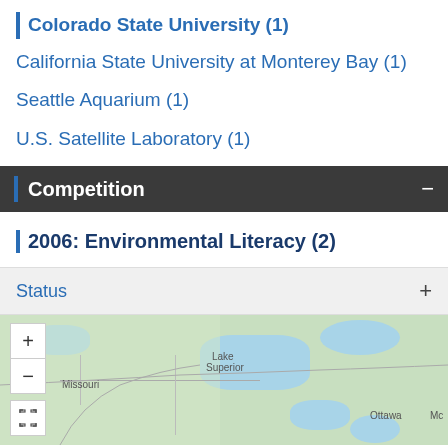Colorado State University (1)
California State University at Monterey Bay (1)
Seattle Aquarium (1)
U.S. Satellite Laboratory (1)
Competition
2006: Environmental Literacy (2)
Status
[Figure (map): Interactive map showing North America with zoom controls (+/-) and a fullscreen button. Labels include Missouri, Lake Superior, Ottawa, and Mc (truncated). Map shows terrain with water bodies in blue and land in green/tan.]